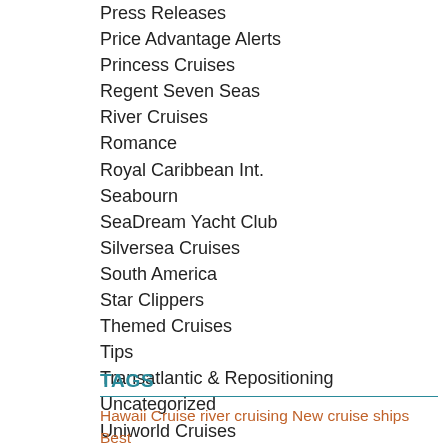Press Releases
Price Advantage Alerts
Princess Cruises
Regent Seven Seas
River Cruises
Romance
Royal Caribbean Int.
Seabourn
SeaDream Yacht Club
Silversea Cruises
South America
Star Clippers
Themed Cruises
Tips
Transatlantic & Repositioning
Uncategorized
Uniworld Cruises
Viking Cruises
Windstar Cruises
TAGS
Hawaii Cruise river cruising New cruise ships Best